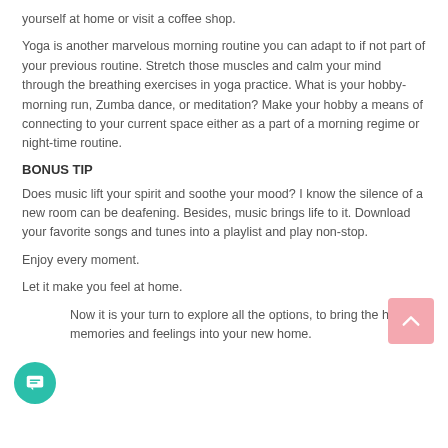yourself at home or visit a coffee shop.
Yoga is another marvelous morning routine you can adapt to if not part of your previous routine. Stretch those muscles and calm your mind through the breathing exercises in yoga practice. What is your hobby-morning run, Zumba dance, or meditation? Make your hobby a means of connecting to your current space either as a part of a morning regime or night-time routine.
BONUS TIP
Does music lift your spirit and soothe your mood? I know the silence of a new room can be deafening. Besides, music brings life to it. Download your favorite songs and tunes into a playlist and play non-stop.
Enjoy every moment.
Let it make you feel at home.
Now it is your turn to explore all the options, to bring the home memories and feelings into your new home.